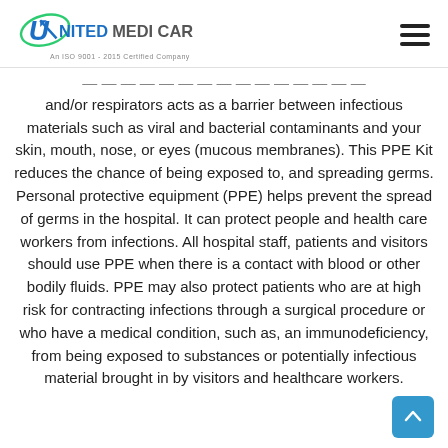United Medi Cares – An ISO 9001-2015 Certified Company
and/or respirators acts as a barrier between infectious materials such as viral and bacterial contaminants and your skin, mouth, nose, or eyes (mucous membranes). This PPE Kit reduces the chance of being exposed to, and spreading germs. Personal protective equipment (PPE) helps prevent the spread of germs in the hospital. It can protect people and health care workers from infections. All hospital staff, patients and visitors should use PPE when there is a contact with blood or other bodily fluids. PPE may also protect patients who are at high risk for contracting infections through a surgical procedure or who have a medical condition, such as, an immunodeficiency, from being exposed to substances or potentially infectious material brought in by visitors and healthcare workers.